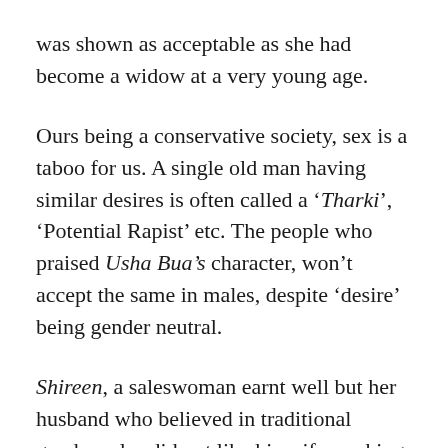was shown as acceptable as she had become a widow at a very young age.
Ours being a conservative society, sex is a taboo for us. A single old man having similar desires is often called a ‘Tharki’, ‘Potential Rapist’ etc. The people who praised Usha Bua’s character, won’t accept the same in males, despite ‘desire’ being gender neutral.
Shireen, a saleswoman earnt well but her husband who believed in traditional gender roles did not like his wife working for money. He wanted to provide for her needs. He was the